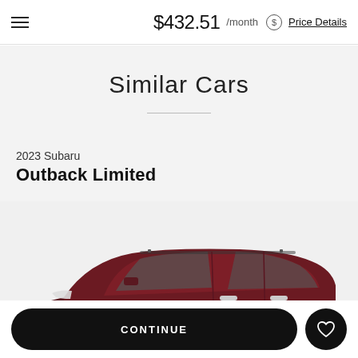$432.51 /month Price Details
Similar Cars
2023 Subaru Outback Limited
[Figure (photo): Side profile photo of a dark red/maroon 2023 Subaru Outback Limited SUV on a light gray background]
CONTINUE